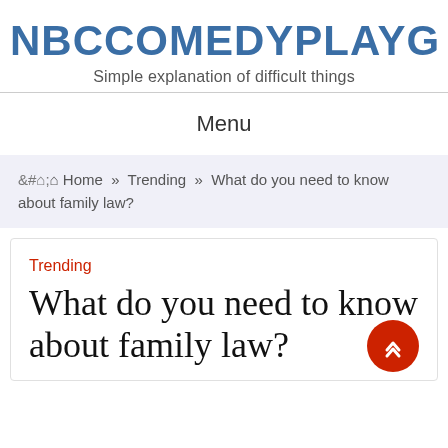NBCCOMEDYPLAYGROUND
Simple explanation of difficult things
Menu
🏠 Home » Trending » What do you need to know about family law?
Trending
What do you need to know about family law?